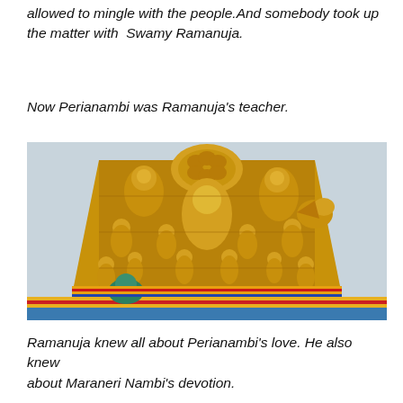allowed to mingle with the people.And somebody took up the matter with  Swamy Ramanuja.
Now Perianambi was Ramanuja's teacher.
[Figure (photo): Close-up photograph of a South Indian Hindu temple gopuram (tower) adorned with intricately carved and gold-painted mythological figures and sculptures, with colorful decorative elements at the base.]
Ramanuja knew all about Perianambi's love. He also knew about Maraneri Nambi's devotion.